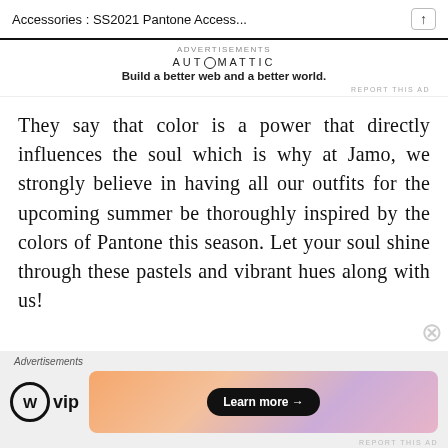Accessories : SS2021 Pantone Access...
[Figure (other): Automattic advertisement banner with logo text 'AUTOMATTIC' and tagline 'Build a better web and a better world.' with 'REPORT THIS AD' label]
They say that color is a power that directly influences the soul which is why at Jamo, we strongly believe in having all our outfits for the upcoming summer be thoroughly inspired by the colors of Pantone this season. Let your soul shine through these pastels and vibrant hues along with us!
[Figure (other): WordPress VIP advertisement with gradient background (peach to purple) and 'Learn more →' button]